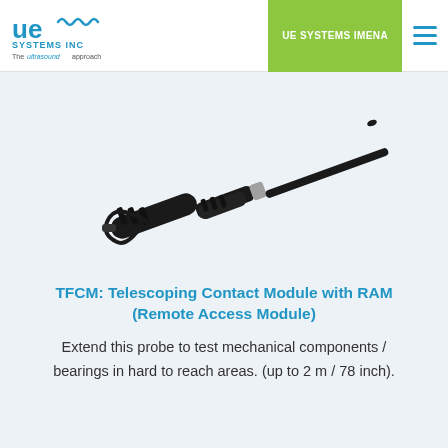UE Systems Inc – The ultrasound approach | UE SYSTEMS IMENA
[Figure (photo): TFCM Telescoping Contact Module with RAM probe – a long black telescoping probe/wand with handle, cable and connector, shown diagonally on a light blue background.]
TFCM: Telescoping Contact Module with RAM (Remote Access Module)
Extend this probe to test mechanical components / bearings in hard to reach areas. (up to 2 m / 78 inch).